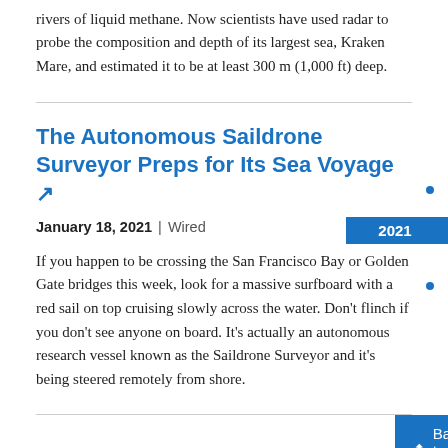rivers of liquid methane. Now scientists have used radar to probe the composition and depth of its largest sea, Kraken Mare, and estimated it to be at least 300 m (1,000 ft) deep.
The Autonomous Saildrone Surveyor Preps for Its Sea Voyage
January 18, 2021 | Wired
2021
If you happen to be crossing the San Francisco Bay or Golden Gate bridges this week, look for a massive surfboard with a red sail on top cruising slowly across the water. Don't flinch if you don't see anyone on board. It's actually an autonomous research vessel known as the Saildrone Surveyor and it's being steered remotely from shore.
New Golden Age of Exploration